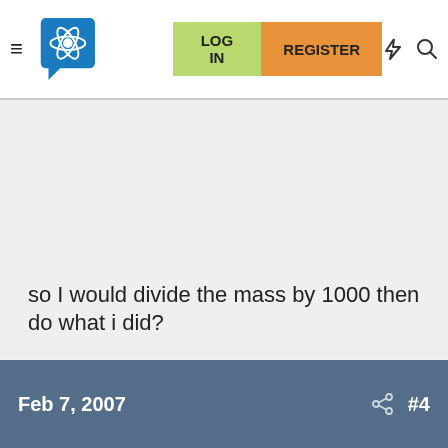LOG IN  REGISTER
so I would divide the mass by 1000 then do what i did?
Feb 7, 2007  #4